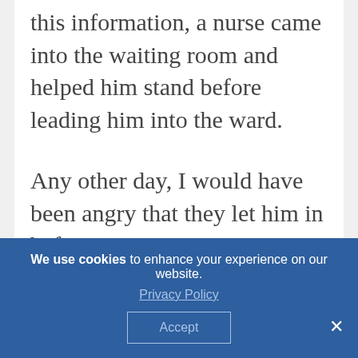this information, a nurse came into the waiting room and helped him stand before leading him into the ward.
Any other day, I would have been angry that they let him in before me.
But it made me stop and take a deep breath.
Cancer changes us. There's no question
We use cookies to enhance your experience on our website. Privacy Policy Accept